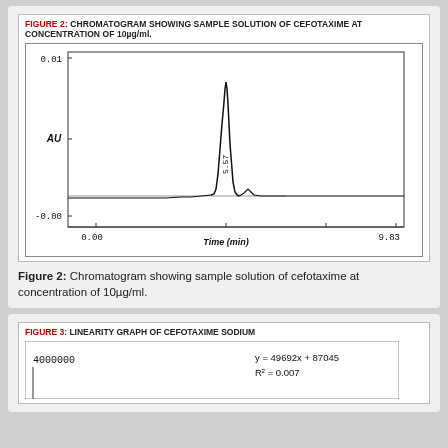FIGURE 2: CHROMATOGRAM SHOWING SAMPLE SOLUTION OF CEFOTAXIME AT CONCENTRATION OF 10µg/ml.
[Figure (continuous-plot): Chromatogram showing a single sharp peak at retention time approximately 5.57 min, AU axis ranging from -0.00 to 0.01, time axis from 0.00 to 9.83 min, x-axis label: Time (min)]
Figure 2: Chromatogram showing sample solution of cefotaxime at concentration of 10µg/ml.
FIGURE 3: LINEARITY GRAPH OF CEFOTAXIME SODIUM
[Figure (continuous-plot): Linearity graph of cefotaxime sodium, y-axis starting at 4000000, equation y = 49692x + 87045, R² = 0.007 shown in top right]